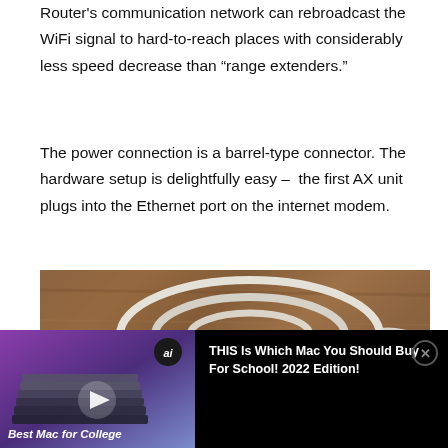Router's communication network can rebroadcast the WiFi signal to hard-to-reach places with considerably less speed decrease than “range extenders.”
The power connection is a barrel-type connector. The hardware setup is delightfully easy –  the first AX unit plugs into the Ethernet port on the internet modem.
[Figure (photo): Photo of a coiled white barrel-type power cable with a round connector end, resting on a wooden surface.]
[Figure (screenshot): Video advertisement overlay showing stacked MacBook laptops thumbnail with play button, 'ai' badge, label 'Best Mac for College', and title text 'THIS Is Which Mac You Should Buy For School! 2022 Edition!' with a close button.]